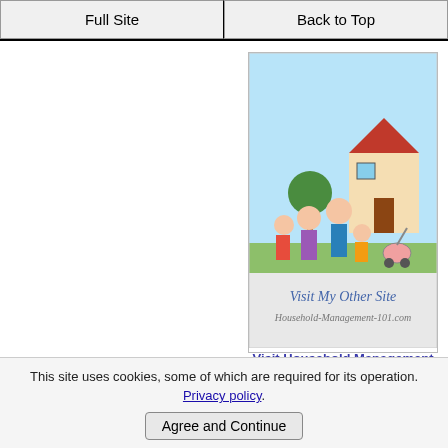Full Site | Back to Top
[Figure (illustration): Cartoon illustration of a family with children and a baby stroller in front of a house, with text 'Visit My Other Site Household-Management-101.com']
Visit Household Management 101
[Figure (illustration): Logo/ad image for Home Storage Solutions 101 - Declutter & Organize Your Home Starting Today, with teal background and red cursive text]
This site uses cookies, some of which are required for its operation. Privacy policy.
Agree and Continue